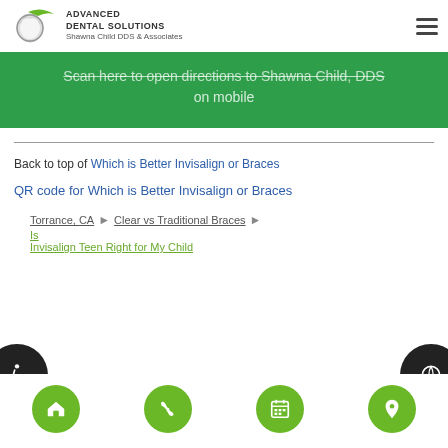Advanced Dental Solutions – Shawna Child DDS & Associates
Scan here to open directions to Shawna Child, DDS on mobile
Back to top of Which is Better Invisalign or Braces
QR code for Which is Better Invisalign or Braces
Torrance, CA > Clear vs Traditional Braces > Is Invisalign Teen Right for My Child